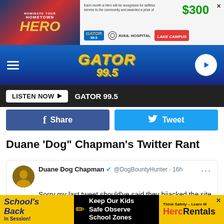[Figure (screenshot): Gator 99.5 radio station website screenshot showing ad banner, navigation bar, social share buttons, article title, and Twitter embed]
GATOR 99.5 navigation bar with hamburger menu, Gator 99.5 logo, and play button
LISTEN NOW ▶   GATOR 99.5
f Share   Tweet
Duane 'Dog" Chapman's Twitter Rant
Duane Dog Chapman @DogBountyHunter · 16h
Sorry my last tweet should've said they hijacked the site
8   15   133
Duane Dog Chapman @DogBountyHunter · 16h
[Figure (screenshot): Bottom advertisement: School's Back in Session! Keep Our Kids Safe Observe School Zones - HercRentals]